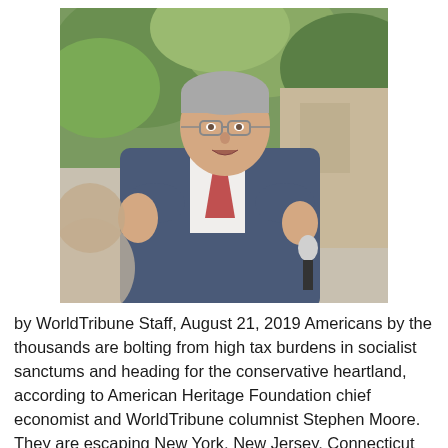[Figure (photo): A middle-aged man with grey hair and glasses wearing a blue suit and patterned tie, holding a microphone and speaking at an outdoor event. Green foliage visible in the background.]
by WorldTribune Staff, August 21, 2019 Americans by the thousands are bolting from high tax burdens in socialist sanctums and heading for the conservative heartland, according to American Heritage Foundation chief economist and WorldTribune columnist Stephen Moore. They are escaping New York, New Jersey, Connecticut and Illinois and moving to Florida, Texas, Tennessee, Utah and [...]